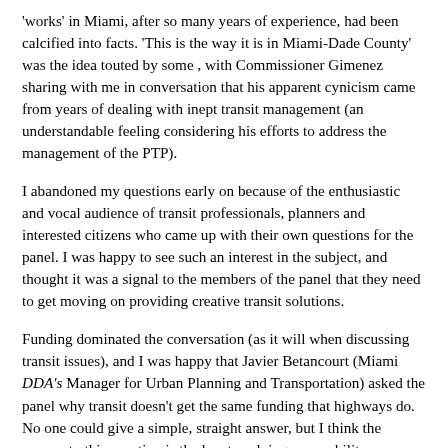'works' in Miami, after so many years of experience, had been calcified into facts. 'This is the way it is in Miami-Dade County' was the idea touted by some , with Commissioner Gimenez sharing with me in conversation that his apparent cynicism came from years of dealing with inept transit management (an understandable feeling considering his efforts to address the management of the PTP).
I abandoned my questions early on because of the enthusiastic and vocal audience of transit professionals, planners and interested citizens who came up with their own questions for the panel. I was happy to see such an interest in the subject, and thought it was a signal to the members of the panel that they need to get moving on providing creative transit solutions.
Funding dominated the conversation (as it will when discussing transit issues), and I was happy that Javier Betancourt (Miami DDA's Manager for Urban Planning and Transportation) asked the panel why transit doesn't get the same funding that highways do. No one could give a simple, straight answer, but I think the answer to this question is the key to solving our mobility problems (and no, I don't think our highways are the solution).
Ysela Llort, Assistant County Manager in charge of transportation was in the audience, and she answered the question by describing the...